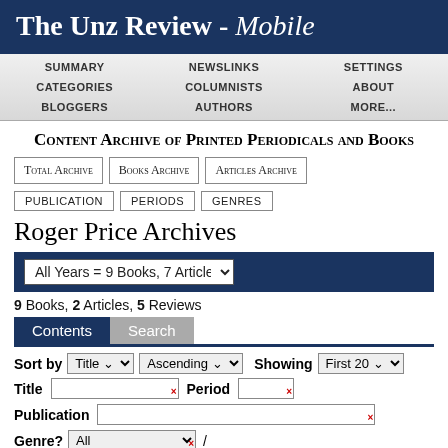The Unz Review - Mobile
SUMMARY | NEWSLINKS | SETTINGS | CATEGORIES | COLUMNISTS | ABOUT | BLOGGERS | AUTHORS | MORE...
Content Archive of Printed Periodicals and Books
Total Archive | Books Archive | Articles Archive
publication | periods | genres
Roger Price Archives
All Years = 9 Books, 7 Articles
9 Books, 2 Articles, 5 Reviews
Contents | Search
Sort by Title Ascending Showing First 20
Title [input] Period [input]
Publication [input]
Genre? All /